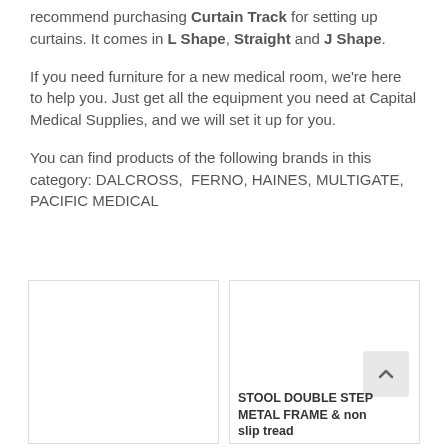recommend purchasing Curtain Track for setting up curtains. It comes in L Shape, Straight and J Shape.
If you need furniture for a new medical room, we're here to help you. Just get all the equipment you need at Capital Medical Supplies, and we will set it up for you.
You can find products of the following brands in this category: DALCROSS,  FERNO, HAINES, MULTIGATE, PACIFIC MEDICAL
[Figure (photo): Empty product card placeholder (left)]
[Figure (photo): Product card for STOOL DOUBLE STEP METAL FRAME & non slip tread, with scroll-to-top button overlay]